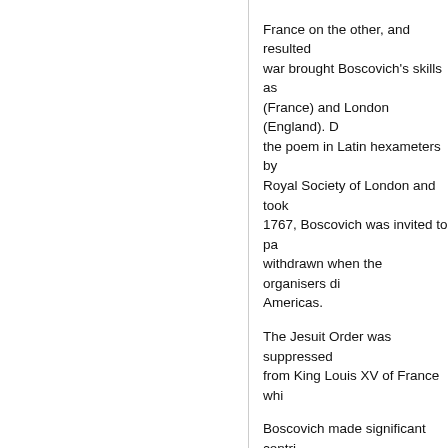France on the other, and resulted war brought Boscovich's skills as (France) and London (England). D the poem in Latin hexameters by Royal Society of London and took 1767, Boscovich was invited to pa withdrawn when the organisers di Americas.
The Jesuit Order was suppressed from King Louis XV of France whi
Boscovich made significant contri first modern treatise on the atomic (1994) and Whyte (1961). Here we procedure for fitting a linear relatio objective as the classification of th classification.]
The fundamental mathematical pr pp. 497-503; 1770, pp. 479-484), pp. 420-425; 1770, pp. 501-510) w $n$ equations of the form